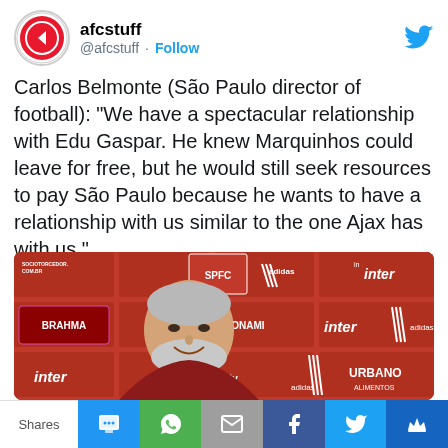[Figure (screenshot): Twitter/X bird logo icon in blue]
afcstuff @afcstuff · Follow
Carlos Belmonte (São Paulo director of football): “We have a spectacular relationship with Edu Gaspar. He knew Marquinhos could leave for free, but he would still seek resources to pay São Paulo because he wants to have a relationship with us similar to the one Ajax has with us.”
[Figure (photo): Press conference photo of a grey-haired man smiling in front of a red branded backdrop with logos including adidas, inter, BRAHMA, SPFC, KONAMI, pfctv, URBANO, and SOCIOTORCEDOR.COM.BR]
Shares
[Figure (infographic): Social share bar with SMS, WhatsApp, Email, Facebook, Twitter, and Crown share buttons]